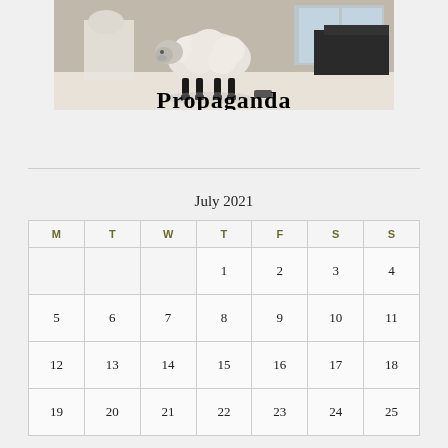[Figure (illustration): A sheep standing indoors on a light floor with furniture in the background, with the bold text 'Propaganda' overlaid at the bottom of the image.]
July 2021
| M | T | W | T | F | S | S |
| --- | --- | --- | --- | --- | --- | --- |
|  |  |  | 1 | 2 | 3 | 4 |
| 5 | 6 | 7 | 8 | 9 | 10 | 11 |
| 12 | 13 | 14 | 15 | 16 | 17 | 18 |
| 19 | 20 | 21 | 22 | 23 | 24 | 25 |